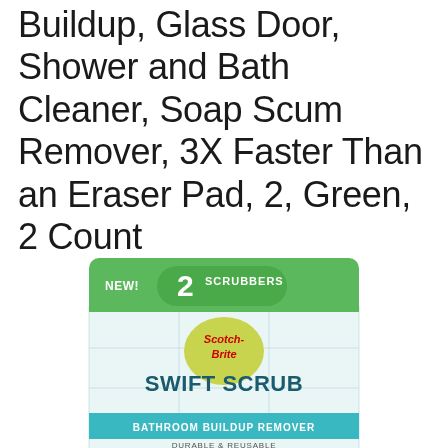Buildup, Glass Door, Shower and Bath Cleaner, Soap Scum Remover, 3X Faster Than an Eraser Pad, 2, Green, 2 Count
[Figure (photo): Scotch-Brite Swift Scrub Bathroom Buildup Remover product box showing 2 scrubbers, green and teal packaging with Scotch-Brite logo]